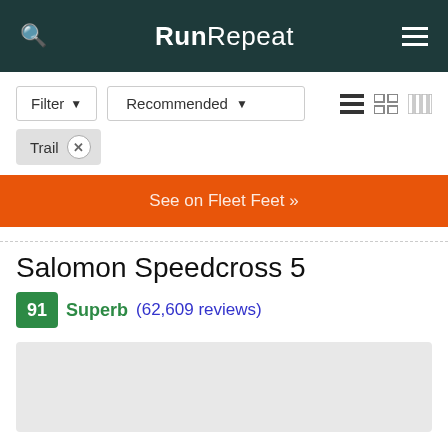RunRepeat
Filter Recommended
Trail ×
See on Fleet Feet »
Salomon Speedcross 5
91 Superb (62,609 reviews)
[Figure (photo): Product image placeholder for Salomon Speedcross 5]